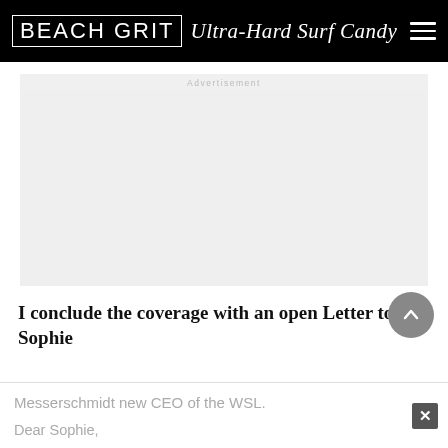BEACH GRIT Ultra-Hard Surf Candy
[Figure (other): Advertisement placeholder area, light gray background]
I conclude the coverage with an open Letter to Sophie
Messerschmidt new CEO of the WSL.
Dear Sophie, ...